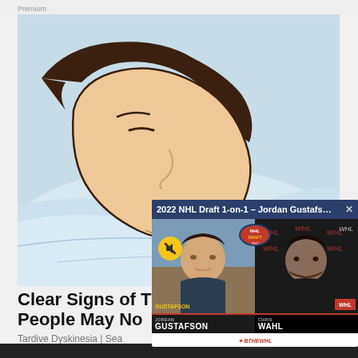Premium
[Figure (illustration): Cartoon/comic-style illustration of a person sleeping on a pillow, viewed from the side, with stylized shading in blue and skin tones.]
[Figure (screenshot): Video popup overlay showing '2022 NHL Draft 1-on-1 - Jordan Gustafs...' with a close button. Two people visible: Jordan Gustafson on the left with a yellow mute button, and Chris Wahl on the right against a patterned background. WHL Draft branding visible.]
Clear Signs of T People May No
Tardive Dyskinesia | Sea